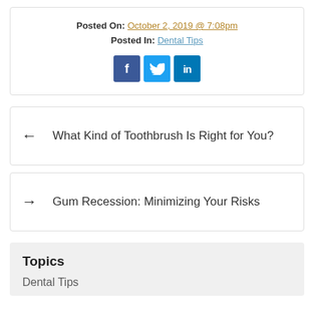Posted On: October 2, 2019 @ 7:08pm
Posted In: Dental Tips
[Figure (other): Social media share buttons: Facebook, Twitter, LinkedIn]
← What Kind of Toothbrush Is Right for You?
→ Gum Recession: Minimizing Your Risks
Topics
Dental Tips